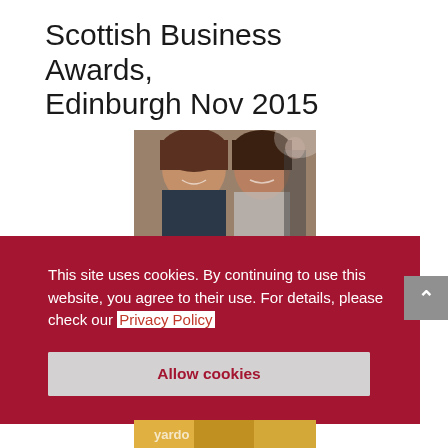Scottish Business Awards, Edinburgh Nov 2015
[Figure (photo): Two smiling women taking a selfie at the Scottish Business Awards event in Edinburgh, November 2015. Upper photo shows two women close-up smiling at camera. Lower partially visible photo shows a group of people at the event.]
This site uses cookies. By continuing to use this website, you agree to their use. For details, please check our Privacy Policy
Allow cookies